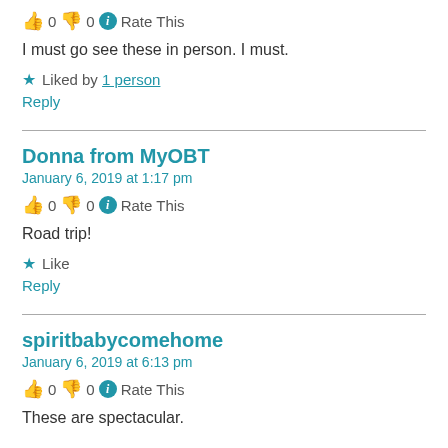👍 0 👎 0 ℹ Rate This
I must go see these in person. I must.
★ Liked by 1 person
Reply
Donna from MyOBT
January 6, 2019 at 1:17 pm
👍 0 👎 0 ℹ Rate This
Road trip!
★ Like
Reply
spiritbabycomehome
January 6, 2019 at 6:13 pm
👍 0 👎 0 ℹ Rate This
These are spectacular.